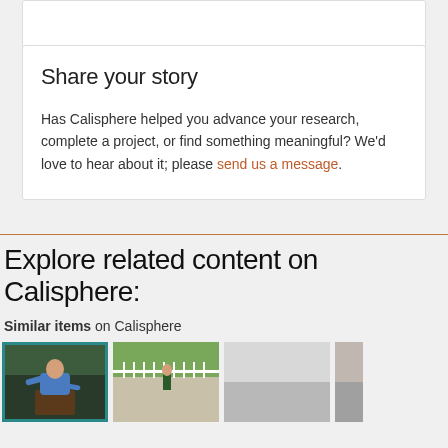Share your story
Has Calisphere helped you advance your research, complete a project, or find something meaningful? We'd love to hear about it; please send us a message.
Explore related content on Calisphere:
Similar items on Calisphere
[Figure (photo): Man in blue shirt speaking at podium with teal border frame]
[Figure (photo): Person standing on outdoor path with white railing and green grass]
[Figure (photo): Partially visible grey/foggy outdoor photo]
[Figure (photo): Partially visible photo on right edge]